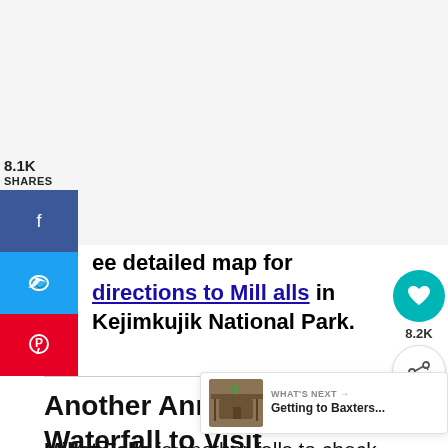[Figure (other): Gray placeholder area at top of page (map or image area)]
8.1K
SHARES
[Figure (other): Social share sidebar with Facebook, Twitter, and Pinterest buttons]
ee detailed map for directions to Mill alls in Kejimkujik National Park.
[Figure (other): Heart/save button showing 8.2K saves, and share button]
Another Annapolis Valley Waterfall to Visit
[Figure (other): What's Next widget: Getting to Baxters...]
Millet Falls is another falls to check out